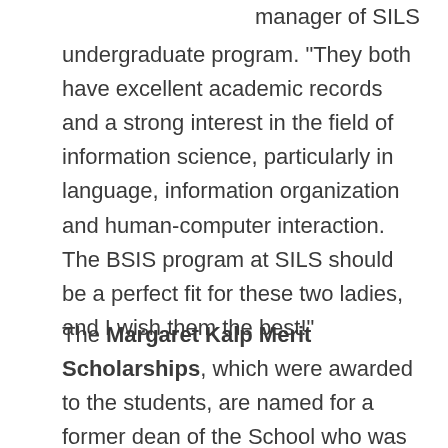manager of SILS undergraduate program. "They both have excellent academic records and a strong interest in the field of information science, particularly in language, information organization and human-computer interaction. The BSIS program at SILS should be a perfect fit for these two ladies, and I wish them the best!"
The Margaret Kalp Merit Scholarships, which were awarded to the students, are named for a former dean of the School who was held in high regard by both her students and her professional colleagues. The Kalp Scholarships are a continuing